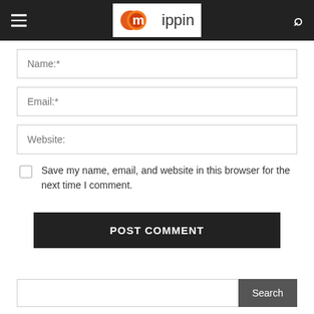mippin
Name:*
Email:*
Website:
Save my name, email, and website in this browser for the next time I comment.
POST COMMENT
Search